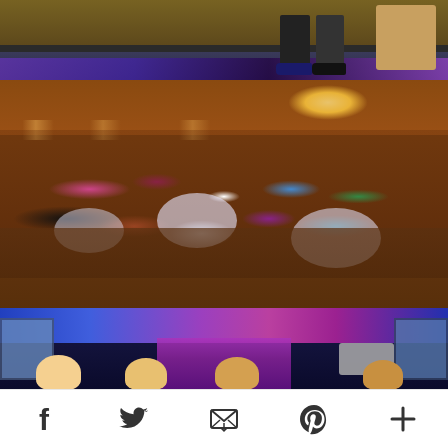[Figure (photo): Top photo: Close-up of two people's legs and feet standing on a stage. One person wears dark pants with blue/dark shoes; the other wears dark pants with red high-heel shoes. Stage has purple/blue lighting. A wooden chair or table is visible at right edge.]
[Figure (photo): Middle photo: Wide-angle view of a large banquet hall filled with hundreds of attendees at round tables with white tablecloths. Warm amber/orange lighting. Chandeliers visible. Crowd of people mingling and seated.]
[Figure (photo): Bottom photo (partial): Stage view from audience perspective with blue and purple/magenta lighting. Screens visible on left and right. Several audience heads in silhouette at bottom. Gray box/monitor visible at right.]
Social share bar with icons: Facebook, Twitter, Email, Pinterest, More (+)